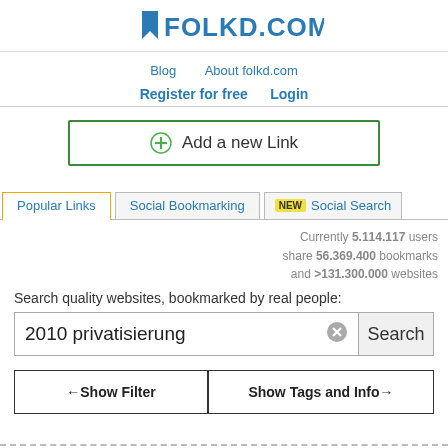[Figure (logo): Folkd.com logo with blue bookmark icon and FOLKD.COM text in blue]
Blog   About folkd.com
Register for free   Login
⊕ Add a new Link
Popular Links   Social Bookmarking   NEW Social Search
Currently 5.114.117 users share 56.369.400 bookmarks and >131.300.000 websites
Search quality websites, bookmarked by real people:
2010 privatisierung
← Show Filter   Show Tags and Info →